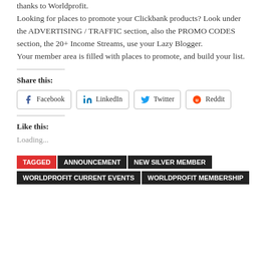thanks to Worldprofit. Looking for places to promote your Clickbank products? Look under the ADVERTISING / TRAFFIC section, also the PROMO CODES section, the 20+ Income Streams, use your Lazy Blogger. Your member area is filled with places to promote, and build your list.
Share this:
Facebook LinkedIn Twitter Reddit
Like this:
Loading...
TAGGED ANNOUNCEMENT NEW SILVER MEMBER WORLDPROFIT CURRENT EVENTS WORLDPROFIT MEMBERSHIP